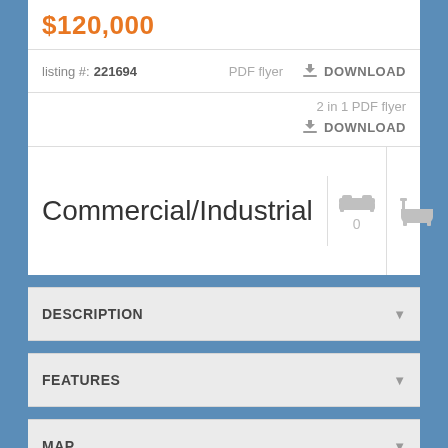$120,000
listing #: 221694
PDF flyer   DOWNLOAD
2 in 1 PDF flyer   DOWNLOAD
Commercial/Industrial
0
DESCRIPTION
FEATURES
MAP
REQUEST INFORMATION